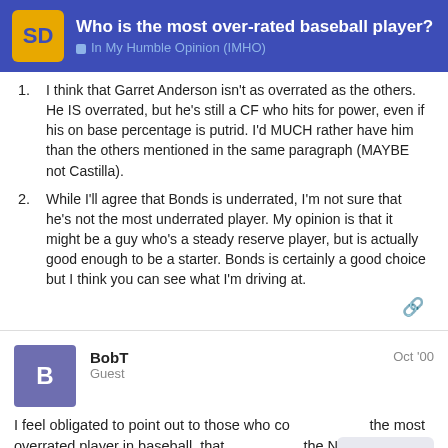Who is the most over-rated baseball player? | In My Humble Opinion (IMHO)
I think that Garret Anderson isn't as overrated as the others. He IS overrated, but he's still a CF who hits for power, even if his on base percentage is putrid. I'd MUCH rather have him than the others mentioned in the same paragraph (MAYBE not Castilla).
While I'll agree that Bonds is underrated, I'm not sure that he's not the most underrated player. My opinion is that it might be a guy who's a steady reserve player, but is actually good enough to be a starter. Bonds is certainly a good choice but I think you can see what I'm driving at.
BobT
Guest
Oct '00
I feel obligated to point out to those who consider Jeter the most overrated player in baseball, that ... the National League in ERA at 2.52. He ...